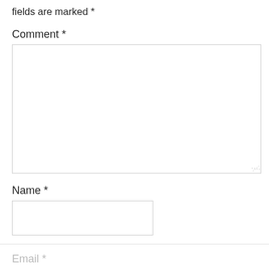fields are marked *
Comment *
[Figure (other): Empty comment textarea input box with resize handle]
Name *
[Figure (other): Empty name text input box]
Email *